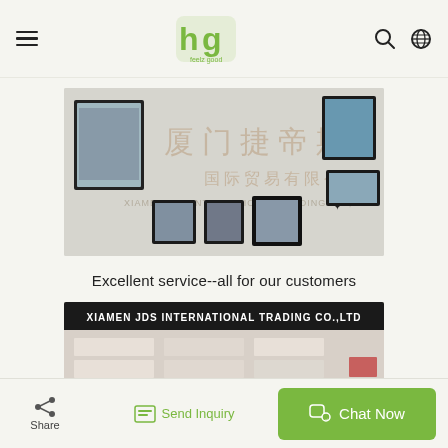hg feelz good — navigation header with hamburger menu, logo, search and globe icons
[Figure (photo): Office interior of Xiamen JDS International Trading Co., Ltd. showing Chinese characters 厦门捷帝斯 国际贸易有限公司 and English text XIAMEN JDS INTERNATIONAL TRADING CO., LTD. on a frosted glass wall, with framed photos displayed on the wall]
Excellent service--all for our customers
[Figure (photo): Reception or office area showing a sign reading XIAMEN JDS INTERNATIONAL TRADING CO.,LTD in bold text on a dark banner above white shelving or display]
Share | Send Inquiry | Chat Now